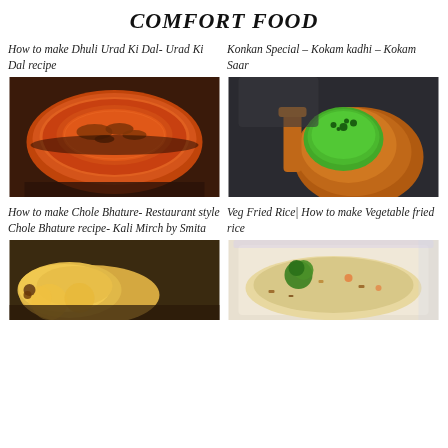COMFORT FOOD
How to make Dhuli Urad Ki Dal- Urad Ki Dal recipe
[Figure (photo): Bowl of orange-red dal topped with fried spices]
Konkan Special – Kokam kadhi – Kokam Saar
[Figure (photo): Green soup in a clay pot garnished with coriander leaves]
How to make Chole Bhature- Restaurant style Chole Bhature recipe- Kali Mirch by Smita
[Figure (photo): Bhature (fried bread) with garnish]
Veg Fried Rice| How to make Vegetable fried rice
[Figure (photo): Vegetable fried rice in a white bowl with broccoli and vegetables]